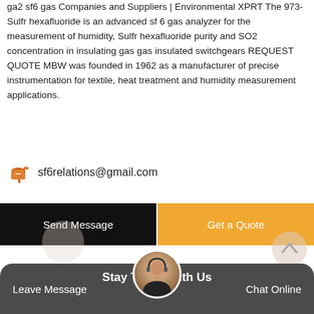ga2 sf6 gas Companies and Suppliers | Environmental XPRT The 973-Sulfr hexafluoride is an advanced sf 6 gas analyzer for the measurement of humidity, Sulfr hexafluoride purity and SO2 concentration in insulating gas gas insulated switchgears REQUEST QUOTE MBW was founded in 1962 as a manufacturer of precise instrumentation for textile, heat treatment and humidity measurement applications.
sf6relations@gmail.com
Send Message
Get a Quote
Stay To With Us
Leave Message
Chat Online